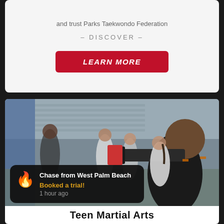and trust Parks Taekwondo Federation
– DISCOVER –
LEARN MORE
[Figure (photo): A teen male in a black martial arts uniform holding a board or paddle, with other students and instructors in the background in a gymnasium setting. Taekwondo training scene.]
Chase from West Palm Beach
Booked a trial!
1 hour ago
Teen Martial Arts